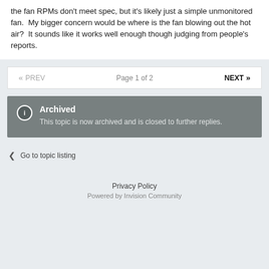the fan RPMs don't meet spec, but it's likely just a simple unmonitored fan.  My bigger concern would be where is the fan blowing out the hot air?  It sounds like it works well enough though judging from people's reports.
« PREV   Page 1 of 2   NEXT »
Archived
This topic is now archived and is closed to further replies.
Go to topic listing
Privacy Policy
Powered by Invision Community